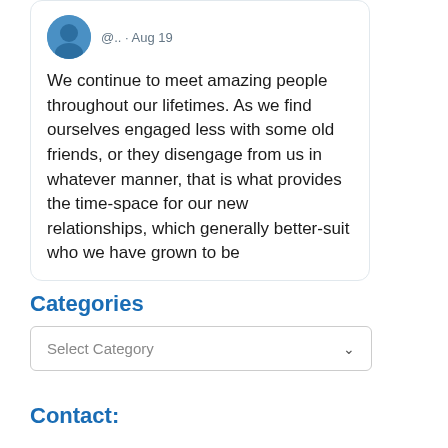[Figure (screenshot): Tweet card showing user avatar (blue profile picture), handle '@.. · Aug 19', and tweet text beginning 'We continue to meet amazing people throughout our lifetimes...']
We continue to meet amazing people throughout our lifetimes. As we find ourselves engaged less with some old friends, or they disengage from us in whatever manner, that is what provides the time-space for our new relationships, which generally better-suit who we have grown to be
Categories
Select Category
Contact: